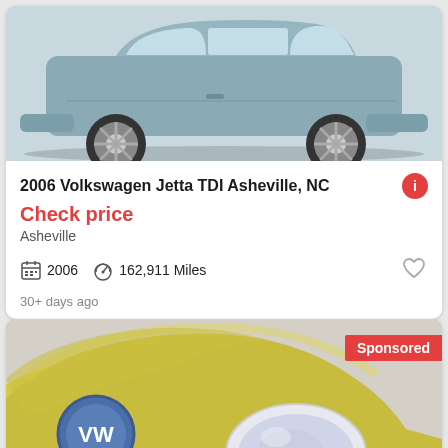[Figure (photo): Side view of a gray/blue 2006 Volkswagen Jetta TDI on white background, showing both wheels]
2006 Volkswagen Jetta TDI Asheville, NC
Check price
Asheville
2006   162,911 Miles
30+ days ago
[Figure (photo): Front close-up of a yellow Volkswagen Beetle with VW logo and headlight visible. Has 'Sponsored' badge in red and 'See photo >' button overlay.]